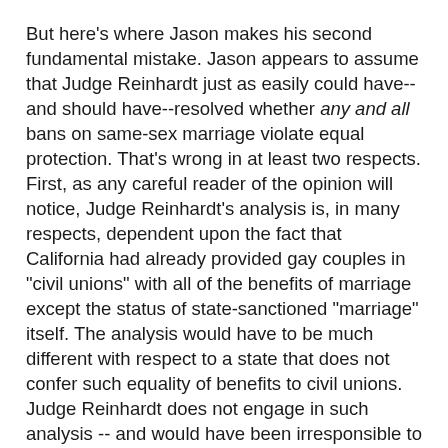But here's where Jason makes his second fundamental mistake. Jason appears to assume that Judge Reinhardt just as easily could have--and should have--resolved whether any and all bans on same-sex marriage violate equal protection. That's wrong in at least two respects. First, as any careful reader of the opinion will notice, Judge Reinhardt's analysis is, in many respects, dependent upon the fact that California had already provided gay couples in "civil unions" with all of the benefits of marriage except the status of state-sanctioned "marriage" itself. The analysis would have to be much different with respect to a state that does not confer such equality of benefits to civil unions. Judge Reinhardt does not engage in such analysis -- and would have been irresponsible to have done so, since no such state was before him.
Moreover, the rationale of his opinion does not even resolve the constitutionality of the marriage question in all states that recognize civil unions but not same-sex marriages. According to some observers, such as Eugene Volokh, to uphold the Reinhardt opinion is effectively to